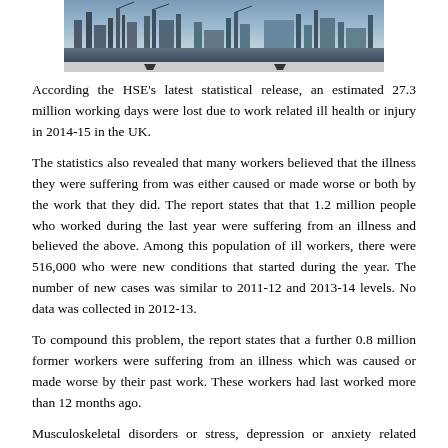[Figure (photo): Industrial landscape photograph showing factory or refinery structures with a timeline/progress bar below it]
According the HSE's latest statistical release, an estimated 27.3 million working days were lost due to work related ill health or injury in 2014-15 in the UK.
The statistics also revealed that many workers believed that the illness they were suffering from was either caused or made worse or both by the work that they did. The report states that that 1.2 million people who worked during the last year were suffering from an illness and believed the above. Among this population of ill workers, there were 516,000 who were new conditions that started during the year. The number of new cases was similar to 2011-12 and 2013-14 levels. No data was collected in 2012-13.
To compound this problem, the report states that a further 0.8 million former workers were suffering from an illness which was caused or made worse by their past work. These workers had last worked more than 12 months ago.
Musculoskeletal disorders or stress, depression or anxiety related illness comprised more than 80% of the new work-related